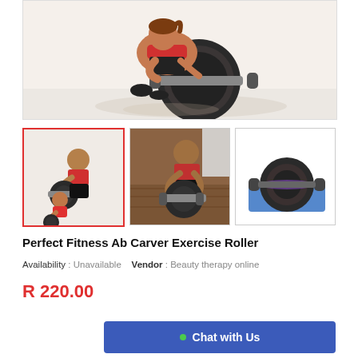[Figure (photo): Woman in red sports bra using an ab roller exercise wheel, kneeling position on white background]
[Figure (photo): Thumbnail 1 (selected, red border): Two people (man and woman) using ab roller exercise wheel on white background]
[Figure (photo): Thumbnail 2: Man in red tank top using ab roller on wooden floor indoors]
[Figure (photo): Thumbnail 3: Ab roller exercise wheel product on blue mat]
Perfect Fitness Ab Carver Exercise Roller
Availability : Unavailable   Vendor : Beauty therapy online
R 220.00
Chat with Us